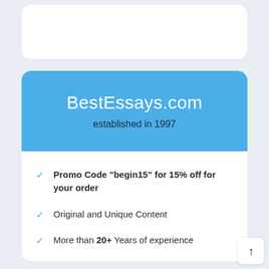[Figure (other): Partially visible white card at top of page]
BestEssays.com
established in 1997
Promo Code "begin15" for 15% off for your order
Original and Unique Content
More than 20+ Years of experience